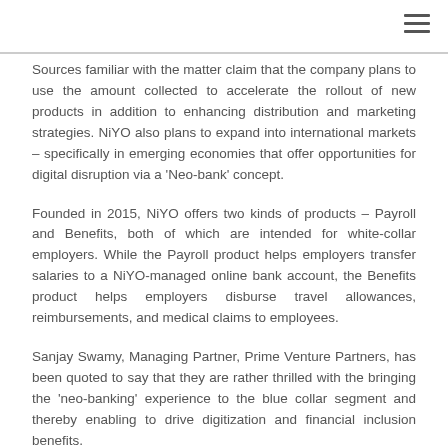Sources familiar with the matter claim that the company plans to use the amount collected to accelerate the rollout of new products in addition to enhancing distribution and marketing strategies. NiYO also plans to expand into international markets – specifically in emerging economies that offer opportunities for digital disruption via a 'Neo-bank' concept.
Founded in 2015, NiYO offers two kinds of products – Payroll and Benefits, both of which are intended for white-collar employers. While the Payroll product helps employers transfer salaries to a NiYO-managed online bank account, the Benefits product helps employers disburse travel allowances, reimbursements, and medical claims to employees.
Sanjay Swamy, Managing Partner, Prime Venture Partners, has been quoted to say that they are rather thrilled with the bringing the 'neo-banking' experience to the blue collar segment and thereby enabling to drive digitization and financial inclusion benefits.